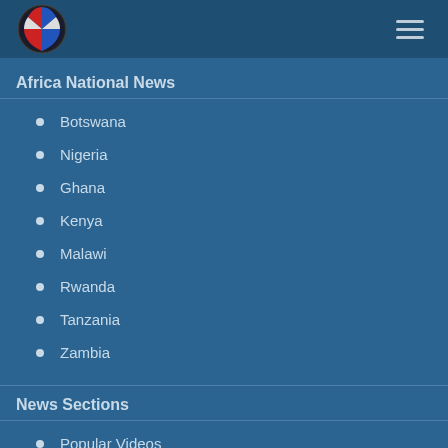Africa National News
Africa National News
Botswana
Nigeria
Ghana
Kenya
Malawi
Rwanda
Tanzania
Zambia
News Sections
Popular Videos
Value Added Services
Mobile
Business
Internet